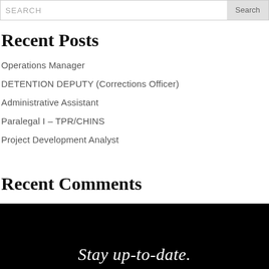SEARCH
Recent Posts
Operations Manager
DETENTION DEPUTY (Corrections Officer)
Administrative Assistant
Paralegal I – TPR/CHINS
Project Development Analyst
Recent Comments
Stay up-to-date.